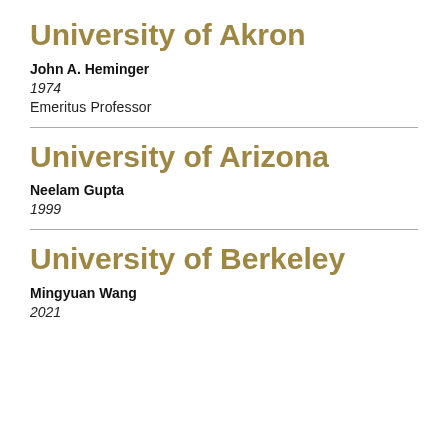University of Akron
John A. Heminger
1974
Emeritus Professor
University of Arizona
Neelam Gupta
1999
University of Berkeley
Mingyuan Wang
2021